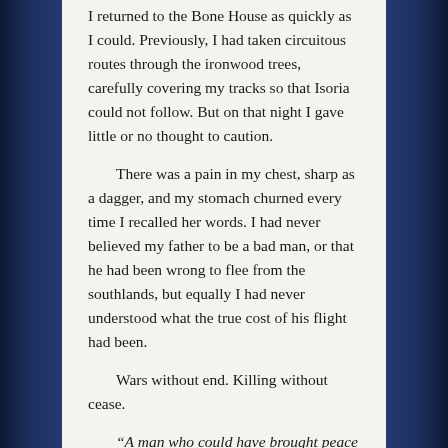I returned to the Bone House as quickly as I could. Previously, I had taken circuitous routes through the ironwood trees, carefully covering my tracks so that Isoria could not follow. But on that night I gave little or no thought to caution.
There was a pain in my chest, sharp as a dagger, and my stomach churned every time I recalled her words. I had never believed my father to be a bad man, or that he had been wrong to flee from the southlands, but equally I had never understood what the true cost of his flight had been.
Wars without end. Killing without cease.
“A man who could have brought peace but chose to run instead.”
By the time I reached the Bone House my